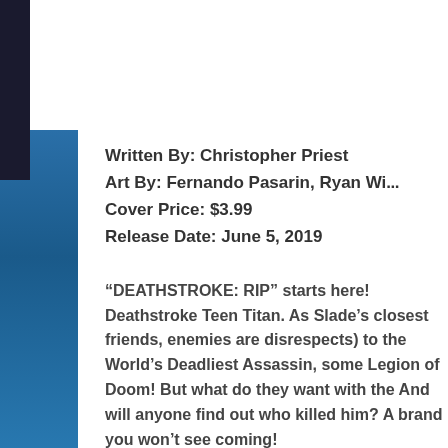Written By: Christopher Priest
Art By: Fernando Pasarin, Ryan Wi...
Cover Price: $3.99
Release Date: June 5, 2019
“DEATHSTROKE: RIP” starts here! Deathstro... Teen Titan. As Slade’s closest friends, enemies ar... disrespects) to the World’s Deadliest Assassin, so... Legion of Doom! But what do they want with th... And will anyone find out who killed him? A bra... you won’t see coming!